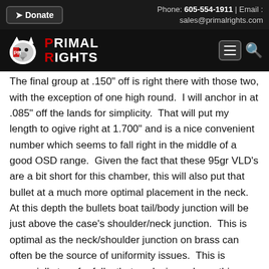Donate | Phone: 605-554-1911 | Email: sales@primalrights.com
Primal Rights
The final group at .150" off is right there with those two, with the exception of one high round.  I will anchor in at .085" off the lands for simplicity.  That will put my length to ogive right at 1.700" and is a nice convenient number which seems to fall right in the middle of a good OSD range.  Given the fact that these 95gr VLD's are a bit short for this chamber, this will also put that bullet at a much more optimal placement in the neck.  At this depth the bullets boat tail/body junction will be just above the case's shoulder/neck junction.  This is optimal as the neck/shoulder junction on brass can often be the source of uniformity issues.  This is especially true for folks that neck size only, so this